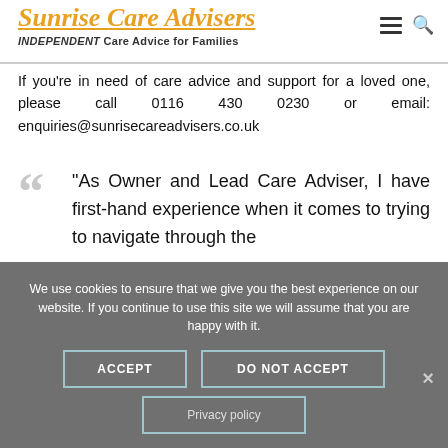[Figure (logo): Sunrise Care Advisers logo with italic orange text and underline, subtitle 'INDEPENDENT Care Advice for Families']
If you're in need of care advice and support for a loved one, please call 0116 430 0230 or email: enquiries@sunrisecareadvisers.co.uk
“As Owner and Lead Care Adviser, I have first-hand experience when it comes to trying to navigate through the
We use cookies to ensure that we give you the best experience on our website. If you continue to use this site we will assume that you are happy with it.
ACCEPT
DO NOT ACCEPT
Privacy policy